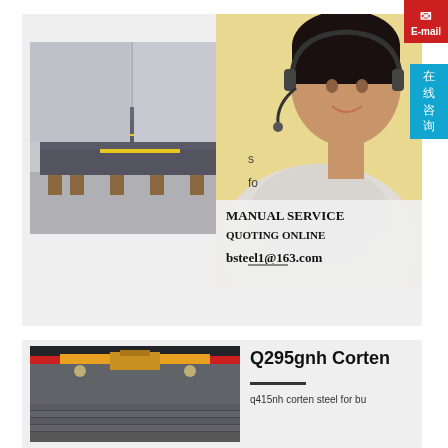[Figure (other): E-mail button top right, red background]
[Figure (other): Chinese online consultation button, blue background with characters 在线咨询]
[Figure (photo): Steel plates stacked on wooden pallets in warehouse, dark gray color with yellow markings]
[Figure (photo): Customer service representative smiling, wearing headset, professional photo]
MANUAL SERVICE
QUOTING ONLINE
bsteel1@163.com
Q295gnh Corten
[Figure (photo): Steel factory interior with red overhead crane and steel beams/rods]
q415nh corten steel for bu